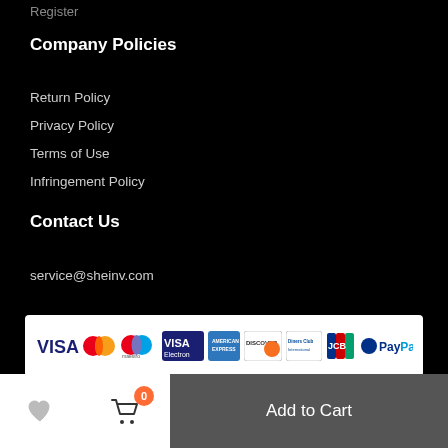Register
Company Policies
Return Policy
Privacy Policy
Terms of Use
Infringement Policy
Contact Us
service@sheinv.com
[Figure (logo): Payment methods banner showing VISA, Mastercard, Maestro, VISA Electron, American Express, Discover, Diners Club, JCB, and PayPal logos on white background]
Add to Cart